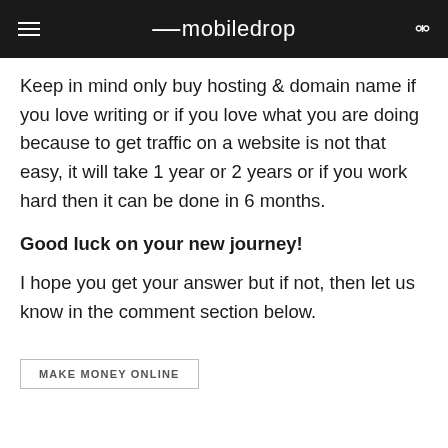mobiledrop
Keep in mind only buy hosting & domain name if you love writing or if you love what you are doing because to get traffic on a website is not that easy, it will take 1 year or 2 years or if you work hard then it can be done in 6 months.
Good luck on your new journey!
I hope you get your answer but if not, then let us know in the comment section below.
MAKE MONEY ONLINE